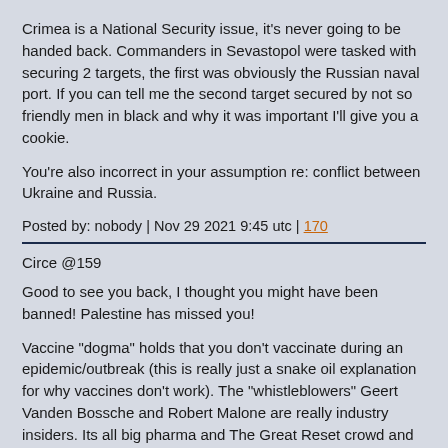Crimea is a National Security issue, it's never going to be handed back. Commanders in Sevastopol were tasked with securing 2 targets, the first was obviously the Russian naval port. If you can tell me the second target secured by not so friendly men in black and why it was important I'll give you a cookie.

You're also incorrect in your assumption re: conflict between Ukraine and Russia.
Posted by: nobody | Nov 29 2021 9:45 utc | 170
Circe @159
Good to see you back, I thought you might have been banned! Palestine has missed you!

Vaccine "dogma" holds that you don't vaccinate during an epidemic/outbreak (this is really just a snake oil explanation for why vaccines don't work). The "whistleblowers" Geert Vanden Bossche and Robert Malone are really industry insiders. Its all big pharma and The Great Reset crowd and malthusiasts (and a few useful idiots who have convinced themselves that they are are ushering in a communist utopia!).